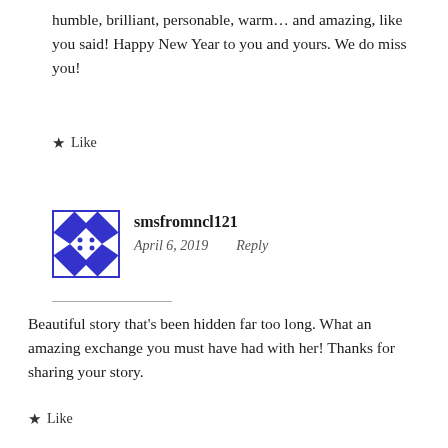humble, brilliant, personable, warm… and amazing, like you said! Happy New Year to you and yours. We do miss you!
★ Like
[Figure (illustration): Blue geometric avatar with triangles and diamond pattern]
smsfromncl121
April 6, 2019    Reply
Beautiful story that's been hidden far too long. What an amazing exchange you must have had with her! Thanks for sharing your story.
★ Like